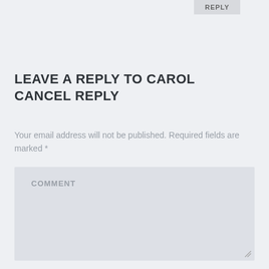REPLY
LEAVE A REPLY TO CAROL CANCEL REPLY
Your email address will not be published. Required fields are marked *
COMMENT